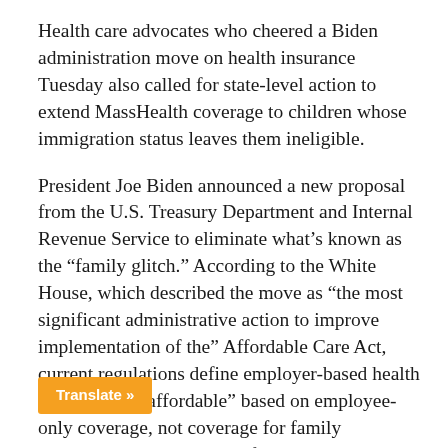Health care advocates who cheered a Biden administration move on health insurance Tuesday also called for state-level action to extend MassHealth coverage to children whose immigration status leaves them ineligible.
President Joe Biden announced a new proposal from the U.S. Treasury Department and Internal Revenue Service to eliminate what’s known as the “family glitch.” According to the White House, which described the move as “the most significant administrative action to improve implementation of the” Affordable Care Act, current regulations define employer-based health insurance as “affordable” based on employee-only coverage, not coverage for family members, which can leave family members ineligible for a premium tax credit to help them buy insurance through the marketplace.
Translate »